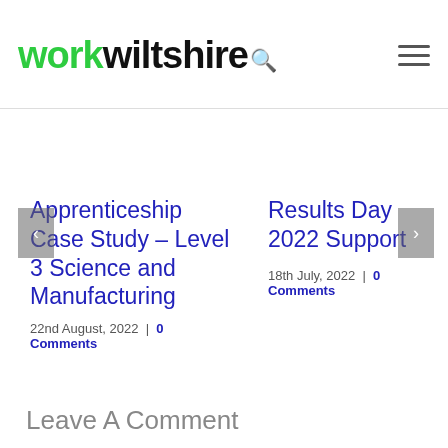workwiltshire
Apprenticeship Case Study – Level 3 Science and Manufacturing
22nd August, 2022 | 0 Comments
Results Day 2022 Support
18th July, 2022 | 0 Comments
Leave A Comment